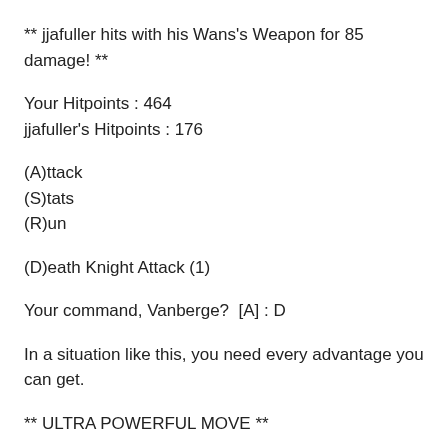** jjafuller hits with his Wans's Weapon for 85 damage! **
Your Hitpoints : 464
jjafuller's Hitpoints : 176
(A)ttack
(S)tats
(R)un
(D)eath Knight Attack (1)
Your command, Vanberge?  [A] : D
In a situation like this, you need every advantage you can get.
** ULTRA POWERFUL MOVE **
After exchanging blows & blocks for nearly a minute, jjafuller gets too fancy, and as a result an attempt to jump a low